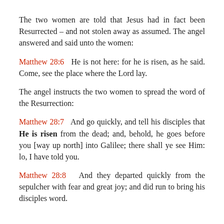The two women are told that Jesus had in fact been Resurrected – and not stolen away as assumed. The angel answered and said unto the women:
Matthew 28:6  He is not here: for he is risen, as he said. Come, see the place where the Lord lay.
The angel instructs the two women to spread the word of the Resurrection:
Matthew 28:7  And go quickly, and tell his disciples that He is risen from the dead; and, behold, he goes before you [way up north] into Galilee; there shall ye see Him: lo, I have told you.
Matthew 28:8  And they departed quickly from the sepulcher with fear and great joy; and did run to bring his disciples word.